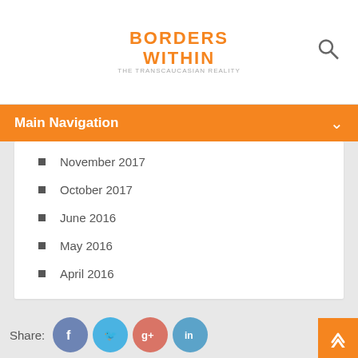BORDERS WITHIN THE TRANSCAUCASIAN REALITY
Main Navigation
November 2017
October 2017
June 2016
May 2016
April 2016
Find us on Google Plus
Organisers
Share: